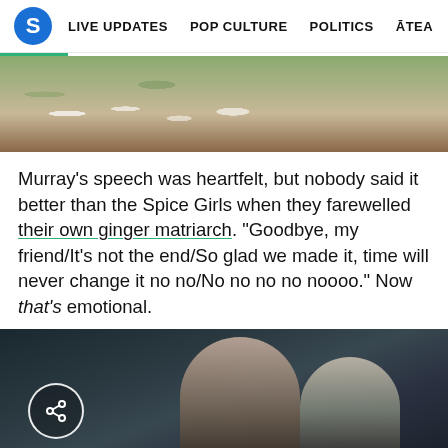S | LIVE UPDATES | POP CULTURE | POLITICS | ĀTEA
[Figure (photo): Partial image of flowers and foliage, appears to be a funeral or ceremonial arrangement]
Murray's speech was heartfelt, but nobody said it better than the Spice Girls when they farewelled their own ginger matriarch. "Goodbye, my friend/It's not the end/So glad we made it, time will never change it no no/No no no no noooo." Now that's emotional.
[Figure (photo): Video thumbnail of Spice Girls music video showing three women, with a share/export button overlay in the bottom left]